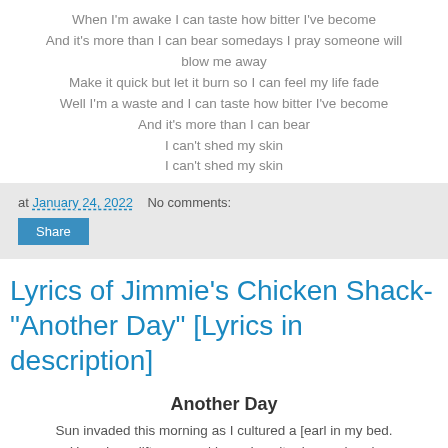When I'm awake I can taste how bitter I've become
And it's more than I can bear somedays I pray someone will blow me away
Make it quick but let it burn so I can feel my life fade
Well I'm a waste and I can taste how bitter I've become
And it's more than I can bear
I can't shed my skin
I can't shed my skin
at January 24, 2022  No comments:
Share
Lyrics of Jimmie's Chicken Shack- "Another Day" [Lyrics in description]
Another Day
Sun invaded this morning as I cultured a [earl in my bed.
Hope I can lift my arms| know I can't raise my head.